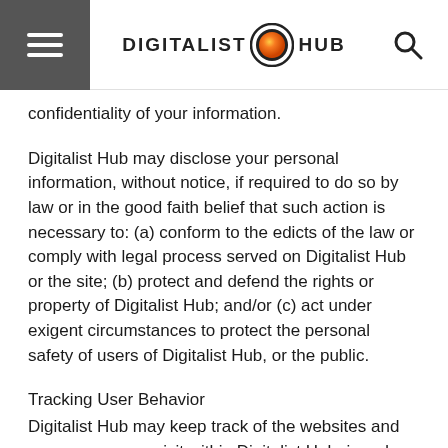DIGITALIST HUB
confidentiality of your information.
Digitalist Hub may disclose your personal information, without notice, if required to do so by law or in the good faith belief that such action is necessary to: (a) conform to the edicts of the law or comply with legal process served on Digitalist Hub or the site; (b) protect and defend the rights or property of Digitalist Hub; and/or (c) act under exigent circumstances to protect the personal safety of users of Digitalist Hub, or the public.
Tracking User Behavior
Digitalist Hub may keep track of the websites and pages our users visit within Digitalist Hub, in order to determine what Digitalist Hub services are the most popular. This data is used to deliver customized content and advertising within